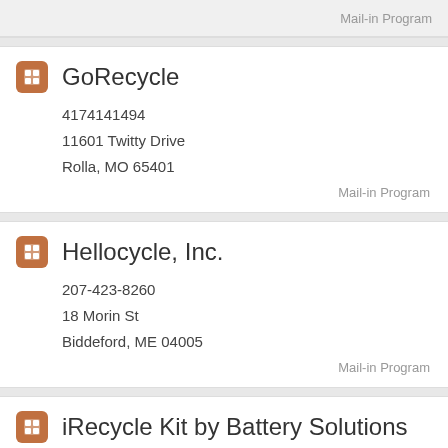Mail-in Program
GoRecycle
4174141494
11601 Twitty Drive
Rolla, MO 65401
Mail-in Program
Hellocycle, Inc.
207-423-8260
18 Morin St
Biddeford, ME 04005
Mail-in Program
iRecycle Kit by Battery Solutions
(800) 852-8127